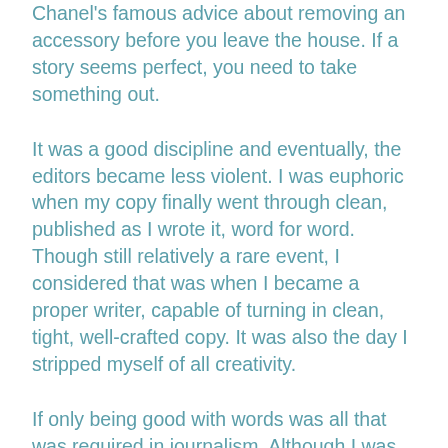Chanel's famous advice about removing an accessory before you leave the house. If a story seems perfect, you need to take something out.
It was a good discipline and eventually, the editors became less violent. I was euphoric when my copy finally went through clean, published as I wrote it, word for word. Though still relatively a rare event, I considered that was when I became a proper writer, capable of turning in clean, tight, well-crafted copy. It was also the day I stripped myself of all creativity.
If only being good with words was all that was required in journalism. Although I was curious enough and had one hell of a fire in my belly to fight for the underdog, I was not equipped for the long-haul battle of competition and politics of newsrooms.